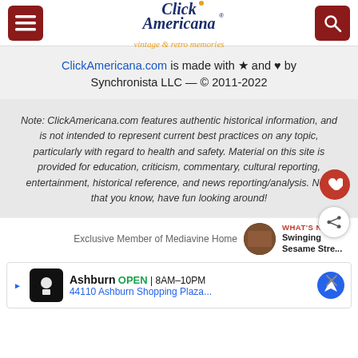Click Americana — vintage & retro memories
ClickAmericana.com is made with ★ and ♥ by Synchronista LLC — © 2011-2022
Note: ClickAmericana.com features authentic historical information, and is not intended to represent current best practices on any topic, particularly with regard to health and safety. Material on this site is provided for education, criticism, commentary, cultural reporting, entertainment, historical reference, and news reporting/analysis. Now that you know, have fun looking around!
Exclusive Member of Mediavine Home
WHAT'S NEXT → Swinging Sesame Stre...
[Figure (screenshot): Ad: Ashburn OPEN 8AM-10PM, 44110 Ashburn Shopping Plaza..., with navigation icon and close button]